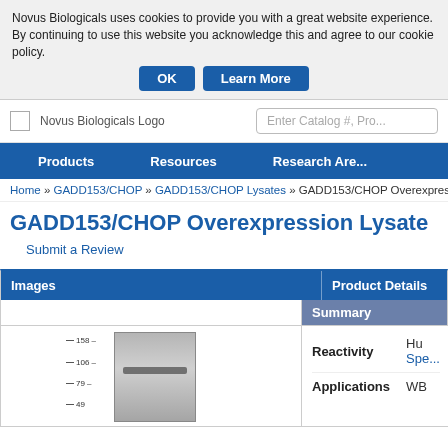Novus Biologicals uses cookies to provide you with a great website experience. By continuing to use this website you acknowledge this and agree to our cookie policy.
OK   Learn More
[Figure (logo): Novus Biologicals Logo]
Enter Catalog #, Pro...
Products   Resources   Research Are...
Home » GADD153/CHOP » GADD153/CHOP Lysates » GADD153/CHOP Overexpressio...
GADD153/CHOP Overexpression Lysate
Submit a Review
| Images | Product Details |
| --- | --- |
| [WB image] | Summary |
| [WB image with ladder: 158, 106, 79, 49] | Reactivity: Hu Spe...
Applications: WB |